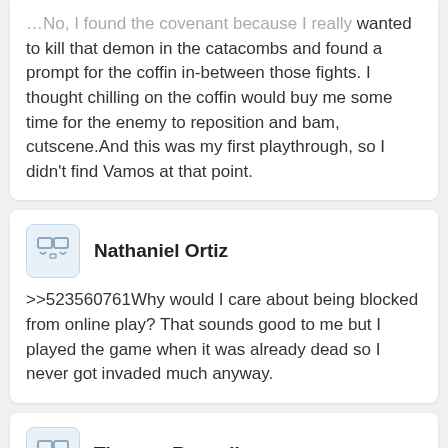...No, I found the covenant because I really wanted to kill that demon in the catacombs and found a prompt for the coffin in-between those fights. I thought chilling on the coffin would buy me some time for the enemy to reposition and bam, cutscene.And this was my first playthrough, so I didn't find Vamos at that point.
Nathaniel Ortiz
>>523560761Why would I care about being blocked from online play? That sounds good to me but I played the game when it was already dead so I never got invaded much anyway.
Thomas Russell
>>523559869that's impossible from the first playthrough and you don't know their attack animations.
Wyatt Cooper